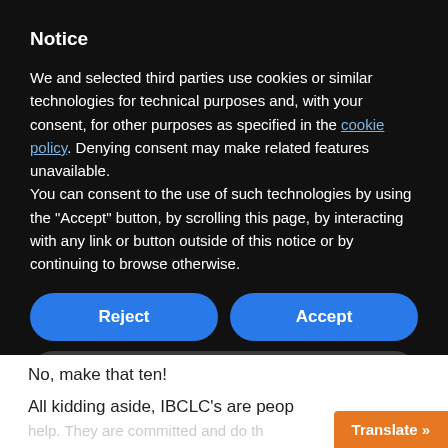Notice
We and selected third parties use cookies or similar technologies for technical purposes and, with your consent, for other purposes as specified in the cookie policy. Denying consent may make related features unavailable.
You can consent to the use of such technologies by using the “Accept” button, by scrolling this page, by interacting with any link or button outside of this notice or by continuing to browse otherwise.
Reject
Accept
Learn more and customize
No, make that ten!
All kidding aside, IBCLC’s are peop
Translate »